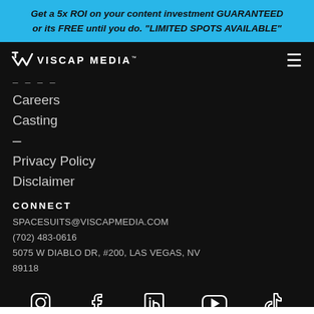Get a 5x ROI on your content investment GUARANTEED or its FREE until you do. "LIMITED SPOTS AVAILABLE"
[Figure (logo): Viscap Media logo with checkmark icon and hamburger menu icon]
----
Careers
Casting
–
Privacy Policy
Disclaimer
CONNECT
SPACESUITS@VISCAPMEDIA.COM
(702) 483-0616
5075 W DIABLO DR, #200, LAS VEGAS, NV 89118
[Figure (infographic): Social media icons row: Instagram, Facebook, LinkedIn, YouTube, TikTok]